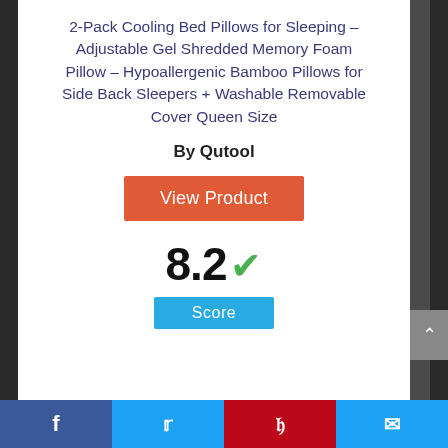2-Pack Cooling Bed Pillows for Sleeping – Adjustable Gel Shredded Memory Foam Pillow – Hypoallergenic Bamboo Pillows for Side Back Sleepers + Washable Removable Cover Queen Size
By Qutool
View Product
8.2 ✓
Score
Facebook | Twitter | Pinterest | Mail